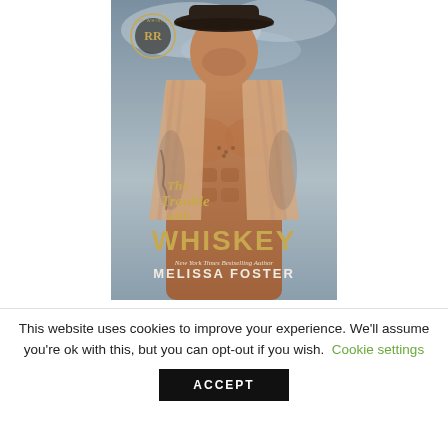[Figure (illustration): Book cover for 'The Trouble with Whiskey' by Melissa Foster (New York Times Bestselling Author). Shows a muscular tattooed man in an open pink/beige striped shirt wearing a cowboy hat, with a stormy sky background. Gold script text reads 'The Trouble with' and large gold block letters read 'WHISKEY'. A circular logo with 'RR' appears in the upper left area of the cover.]
This website uses cookies to improve your experience. We'll assume you're ok with this, but you can opt-out if you wish.  Cookie settings
ACCEPT